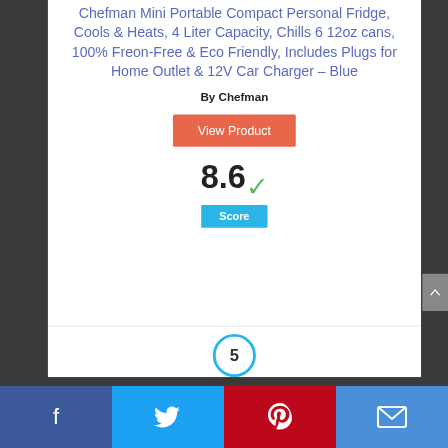Chefman Mini Portable Compact Personal Fridge, Cools & Heats, 4 Liter Capacity, Chills 6 12oz cans, 100% Freon-Free & Eco Friendly, Includes Plugs for Home Outlet & 12V Car Charger – Blue
By Chefman
View Product
8.6 ✓ Score
[Figure (other): Partial circle/badge with number 5 visible at bottom of page]
Facebook | Twitter | Pinterest | Email